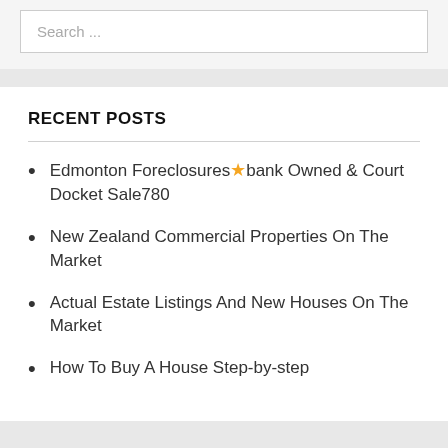Search ...
RECENT POSTS
Edmonton Foreclosures ★ bank Owned & Court Docket Sale780
New Zealand Commercial Properties On The Market
Actual Estate Listings And New Houses On The Market
How To Buy A House Step-by-step